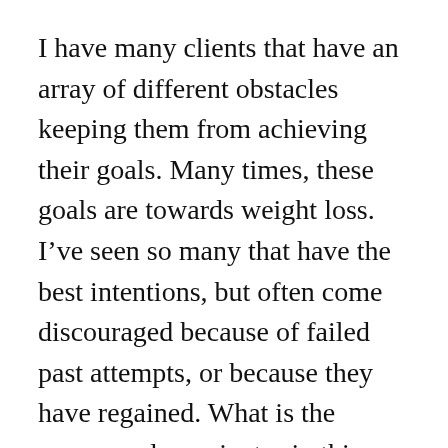I have many clients that have an array of different obstacles keeping them from achieving their goals. Many times, these goals are towards weight loss. I've seen so many that have the best intentions, but often come discouraged because of failed past attempts, or because they have regained. What is the common denominator in this picture? The word, “diet.”
Most people assume that as I dietitian, I put people on strict “diets.” Not exactly,